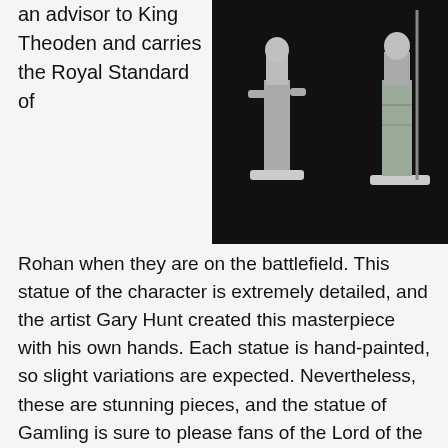an advisor to King Theoden and carries the Royal Standard of Rohan when they are on the battlefield. This statue of the character is extremely detailed, and the artist Gary Hunt created this masterpiece with his own hands. Each statue is hand-painted, so slight variations are expected. Nevertheless, these are stunning pieces, and the statue of Gamling is sure to please fans of the Lord of the Rings franchise.
[Figure (photo): Two unpainted miniature figurines of fantasy characters on bases, photographed against a black background.]
Gaming is a form of gambling, where a person places a bet on an uncertain event in hopes of winning. The result of the bet may be determined by chance, or could be unexpected due to the bettor’s miscalculation. It is an enjoyable pastime for many, so long as it is not addictive. In the Lord of the Rings movies, Gamling is an important character, so it is